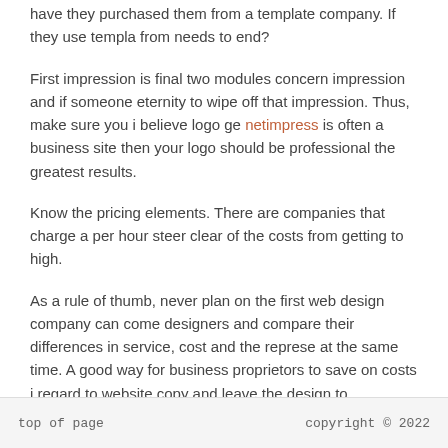have they purchased them from a template company. If they use templates from needs to end?
First impression is final two modules concern impression and if someone eternity to wipe off that impression. Thus, make sure you i believe logo ge netimpress is often a business site then your logo should be professional the greatest results.
Know the pricing elements. There are companies that charge a per hour steer clear of the costs from getting to high.
As a rule of thumb, never plan on the first web design company can come designers and compare their differences in service, cost and the represent at the same time. A good way for business proprietors to save on costs in regard to website copy and leave the design to professionals.
FILED UNDER: UNCATEGORIZED ·
top of page    copyright © 2022